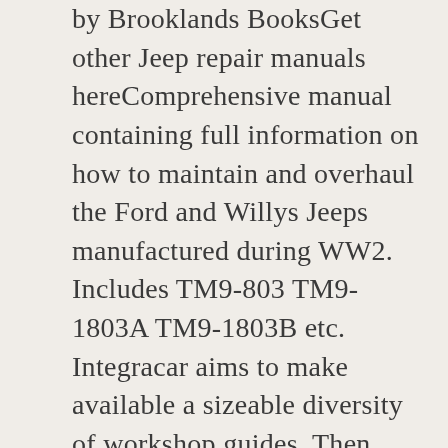by Brooklands BooksGet other Jeep repair manuals hereComprehensive manual containing full information on how to maintain and overhaul the Ford and Willys Jeeps manufactured during WW2. Includes TM9-803 TM9-1803A TM9-1803B etc. Integracar aims to make available a sizeable diversity of workshop guides. Then again maintenance manuals may just be created for assorted countries and the cars released for those countries. Consequently not all repair manuals may be fitting for your individual car. If you have any important questions whether or not a individual workshop manual is desirable for your vehicle kindly e-mail us hereThe Complete WW2 Military Jeep Manual by Brooklands Books